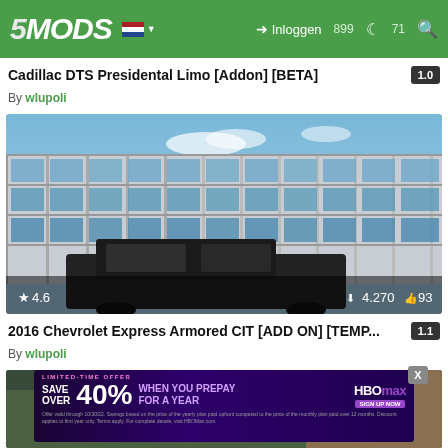5MODS — Inloggen
Cadillac DTS Presidental Limo [Addon] [BETA] 1.0
By wlupoli
[Figure (screenshot): Screenshot of a video game scene showing a large armored black van parked in front of a multi-story glass office building under a blue sky. Stats overlay: star 4.6, downloads 4.270, likes 93.]
2016 Chevrolet Express Armored CIT [ADD ON] [TEMP... 1.1
By wlupoli
[Figure (screenshot): Partial screenshot of another mod thumbnail, partially obscured by an advertisement banner.]
LIMITED-TIME OFFER SAVE OVER 40% WHEN YOU PREPAY FOR A YEAR HBOMAX SIGN UP NOW. Offer valid through 10/30/22. Savings based on the price of the yearly plan paid upfront compared to the price of the monthly plan paid over 12 months. Discount applies to first year only. Terms apply. For complete details, visit HBOMax.com.